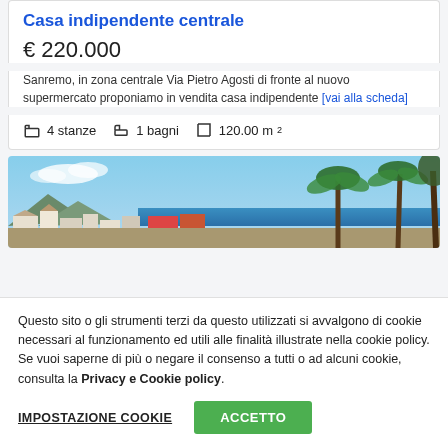Casa indipendente centrale
€ 220.000
Sanremo, in zona centrale Via Pietro Agosti di fronte al nuovo supermercato proponiamo in vendita casa indipendente [vai alla scheda]
4 stanze   1 bagni   120.00 m²
[Figure (photo): Exterior photo of a Mediterranean coastal property with palm trees and sea view in Sanremo]
Questo sito o gli strumenti terzi da questo utilizzati si avvalgono di cookie necessari al funzionamento ed utili alle finalità illustrate nella cookie policy. Se vuoi saperne di più o negare il consenso a tutti o ad alcuni cookie, consulta la Privacy e Cookie policy.
IMPOSTAZIONE COOKIE   ACCETTO